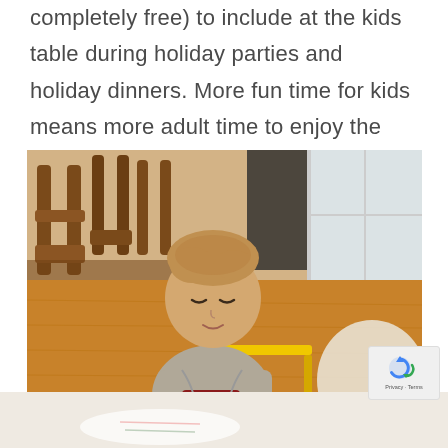completely free) to include at the kids table during holiday parties and holiday dinners. More fun time for kids means more adult time to enjoy the party too!
[Figure (photo): A young toddler boy with light hair, wearing a grey cardigan over a red plaid shirt, sitting at a small yellow chair, looking down, with wooden dining chairs and a hardwood floor in the background.]
[Figure (photo): Bottom portion of another photo showing a light/white surface, partially visible.]